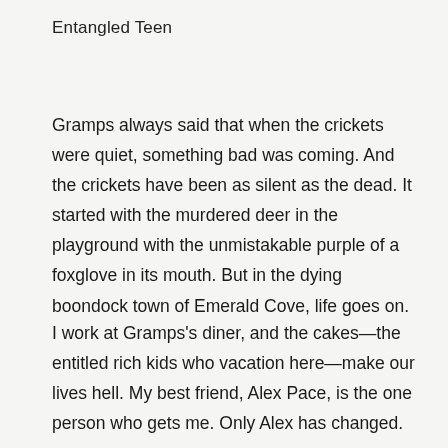Entangled Teen
Gramps always said that when the crickets were quiet, something bad was coming. And the crickets have been as silent as the dead. It started with the murdered deer in the playground with the unmistakable purple of a foxglove in its mouth. But in the dying boondock town of Emerald Cove, life goes on.
I work at Gramps's diner, and the cakes—the entitled rich kids who vacation here—make our lives hell. My best friend, Alex Pace, is the one person who gets me. Only Alex has changed.